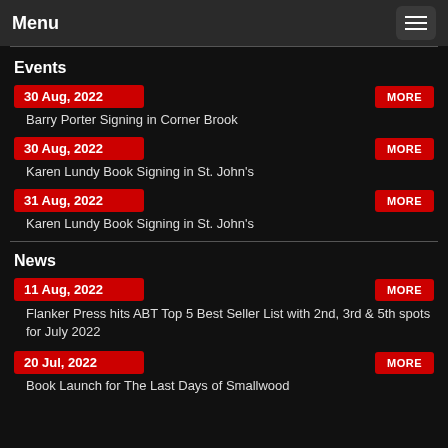Menu
Events
30 Aug, 2022 — Barry Porter Signing in Corner Brook
30 Aug, 2022 — Karen Lundy Book Signing in St. John's
31 Aug, 2022 — Karen Lundy Book Signing in St. John's
News
11 Aug, 2022 — Flanker Press hits ABT Top 5 Best Seller List with 2nd, 3rd & 5th spots for July 2022
20 Jul, 2022 — Book Launch for The Last Days of Smallwood